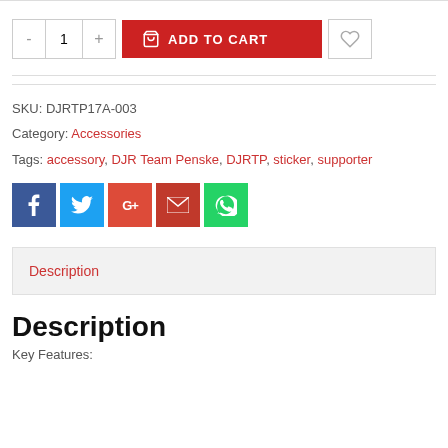[Figure (screenshot): Add to cart UI with quantity selector (minus, 1, plus), red ADD TO CART button with cart icon, and wishlist heart button]
SKU: DJRTP17A-003
Category: Accessories
Tags: accessory, DJR Team Penske, DJRTP, sticker, supporter
[Figure (infographic): Social share buttons: Facebook (blue), Twitter (light blue), Google+ (red-orange), Email (dark red), WhatsApp (green)]
Description
Description
Key Features: